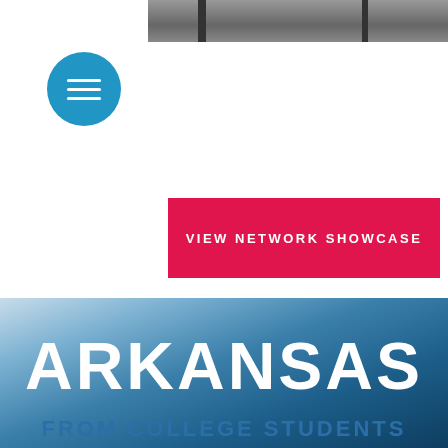[Figure (photo): Top portion of a photo showing what appears to be a table or furniture, cropped at the top of the page]
[Figure (other): Blue circular hamburger/menu icon button with three white horizontal bars]
[Figure (other): Red/pink 'VIEW NETWORK SHOWCASE' call-to-action button]
19 Shares
[Figure (other): Social share buttons: Facebook (dark blue rounded pill), Twitter (light blue rounded pill), LinkedIn (teal rounded pill)]
[Figure (photo): Bottom section with blue gradient background showing the text ARKANSAS in large white bold letters, and partially visible text FROM COLLEGE STUDENTS below in blue]
ARKANSAS
FROM COLLEGE STUDENTS